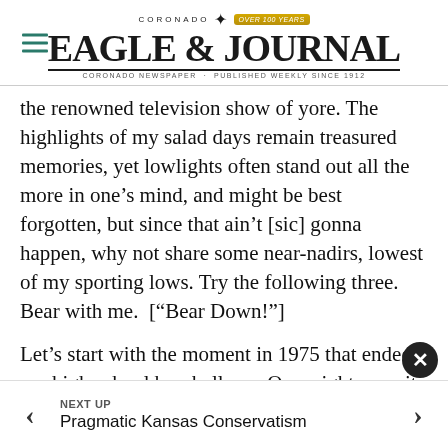Coronado Eagle & Journal — Coronado Newspaper · Published Weekly Since 1912
the renowned television show of yore. The highlights of my salad days remain treasured memories, yet lowlights often stand out all the more in one's mind, and might be best forgotten, but since that ain't [sic] gonna happen, why not share some near-nadirs, lowest of my sporting lows. Try the following three. Bear with me.  ["Bear Down!"]
Let's start with the moment in 1975 that ended my high school baseball run. Our mighty varsity squad were playing up at San Dieguito High in Encinitas when I found myself on first base after having
NEXT UP
Pragmatic Kansas Conservatism